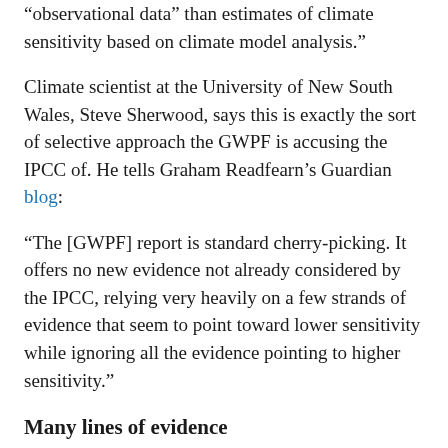“observational data” than estimates of climate sensitivity based on climate model analysis.”
Climate scientist at the University of New South Wales, Steve Sherwood, says this is exactly the sort of selective approach the GWPF is accusing the IPCC of. He tells Graham Readfearn’s Guardian blog:
“The [GWPF] report is standard cherry-picking. It offers no new evidence not already considered by the IPCC, relying very heavily on a few strands of evidence that seem to point toward lower sensitivity while ignoring all the evidence pointing to higher sensitivity.”
Many lines of evidence
The IPCC’s estimate of climate sensitivity takes into